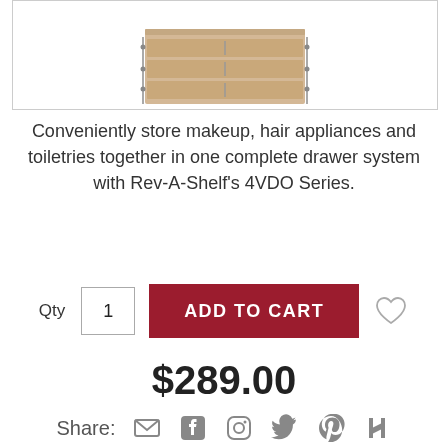[Figure (photo): Product photo of a wood drawer organizer system (Rev-A-Shelf 4VDO Series) partially visible at top of page]
Conveniently store makeup, hair appliances and toiletries together in one complete drawer system with Rev-A-Shelf's 4VDO Series.
Qty 1  ADD TO CART
$289.00
Share: